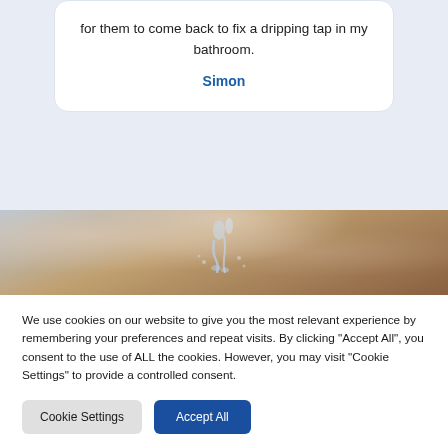for them to come back to fix a dripping tap in my bathroom.
Simon
[Figure (photo): Close-up photo of water dripping from a leaking pipe or tap, with water splashing on a wooden surface. Brown wooden background visible with water droplets and streams.]
We use cookies on our website to give you the most relevant experience by remembering your preferences and repeat visits. By clicking "Accept All", you consent to the use of ALL the cookies. However, you may visit "Cookie Settings" to provide a controlled consent.
Cookie Settings
Accept All